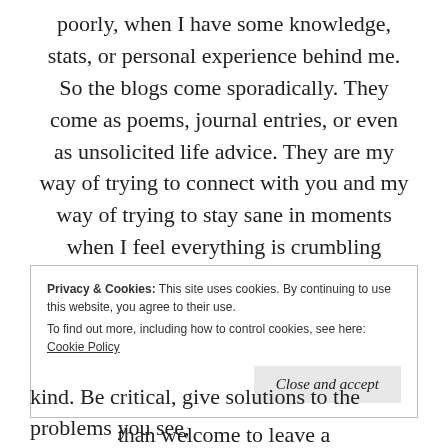poorly, when I have some knowledge, stats, or personal experience behind me. So the blogs come sporadically. They come as poems, journal entries, or even as unsolicited life advice. They are my way of trying to connect with you and my way of trying to stay sane in moments when I feel everything is crumbling around me.
I look forward to your readership, and I'm always interested to hear what you think. I love critical feedback, and you're more than welcome to leave a
Privacy & Cookies: This site uses cookies. By continuing to use this website, you agree to their use. To find out more, including how to control cookies, see here: Cookie Policy
Close and accept
kind. Be critical, give solutions to the problems you see,